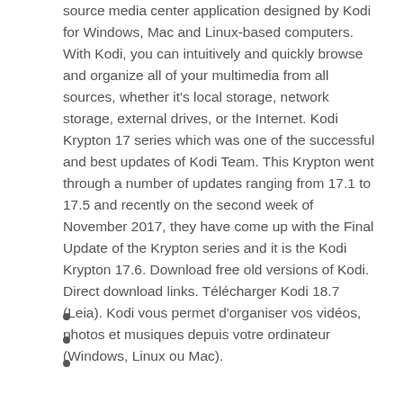source media center application designed by Kodi for Windows, Mac and Linux-based computers. With Kodi, you can intuitively and quickly browse and organize all of your multimedia from all sources, whether it's local storage, network storage, external drives, or the Internet. Kodi Krypton 17 series which was one of the successful and best updates of Kodi Team. This Krypton went through a number of updates ranging from 17.1 to 17.5 and recently on the second week of November 2017, they have come up with the Final Update of the Krypton series and it is the Kodi Krypton 17.6. Download free old versions of Kodi. Direct download links. Télécharger Kodi 18.7 (Leia). Kodi vous permet d'organiser vos vidéos, photos et musiques depuis votre ordinateur (Windows, Linux ou Mac).